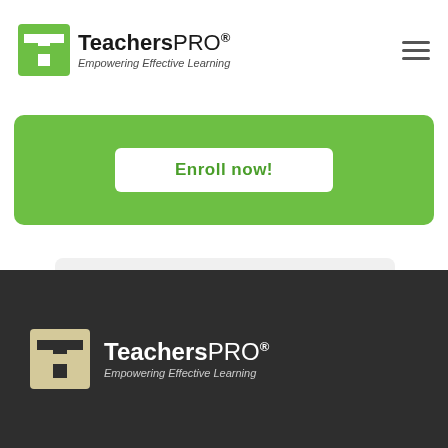[Figure (logo): TeachersPRO logo with green T icon and tagline 'Empowering Effective Learning' on white header bar with hamburger menu]
[Figure (screenshot): Green rounded rectangle banner with white 'Enroll now!' button]
See other Challenges
See Competencies
[Figure (logo): TeachersPRO logo with beige/white T icon and tagline 'Empowering Effective Learning' on dark footer background]